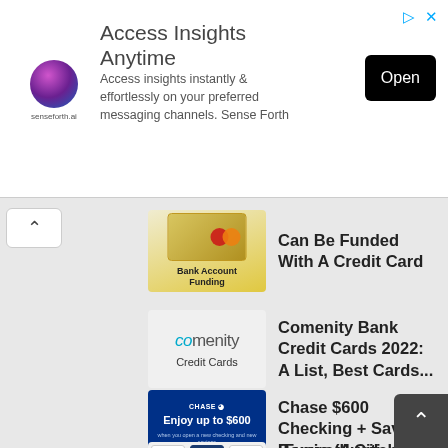[Figure (screenshot): Advertisement banner for senseforth.ai: 'Access Insights Anytime' with logo, description text, and Open button]
[Figure (illustration): Credit card image with text 'Bank Account Funding']
Can Be Funded With A Credit Card
[Figure (logo): Comenity Credit Cards logo with text 'Credit Cards']
Comenity Bank Credit Cards 2022: A List, Best Cards...
[Figure (screenshot): Chase promotion image: 'Enjoy up to $600 when you open a new checking and new savings account with qualifying activities']
Chase $600 Checking + Savings Bonus (Available...
[Figure (illustration): Citi card promotional image showing $200, $400, $700 cards]
[Expired] Citi $300/$700/$1,500 Personal